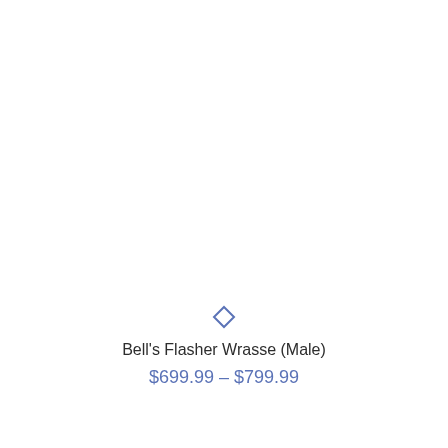[Figure (illustration): Small blue diamond/rhombus outline icon centered above product title]
Bell's Flasher Wrasse (Male)
$699.99 – $799.99